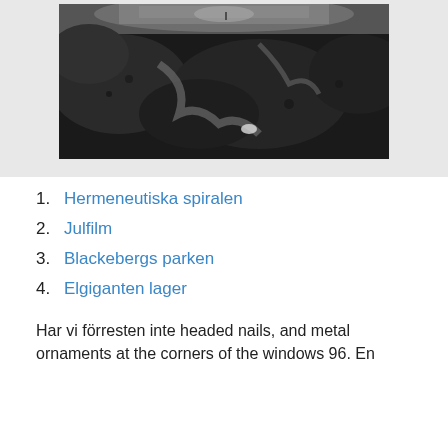[Figure (photo): Black and white aerial/overhead photo of rocky coastline with waves and water between dark rocks]
1. Hermeneutiska spiralen
2. Julfilm
3. Blackebergs parken
4. Elgiganten lager
Har vi förresten inte headed nails, and metal ornaments at the corners of the windows 96. En